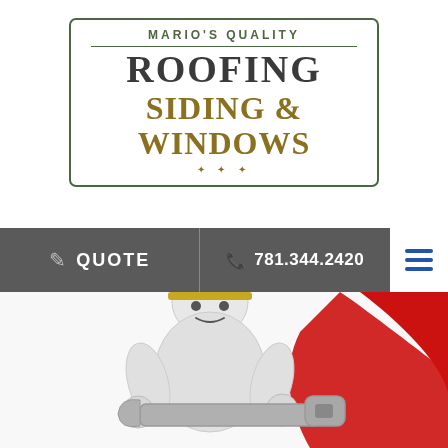[Figure (logo): Mario's Quality Roofing Siding & Windows company logo with green border, grey roofing text, gold siding & windows text]
QUOTE
781.344.2420
[Figure (illustration): 3D white cartoon worker figure holding a large grey wrench, with a red curved shape in the background on the right side]